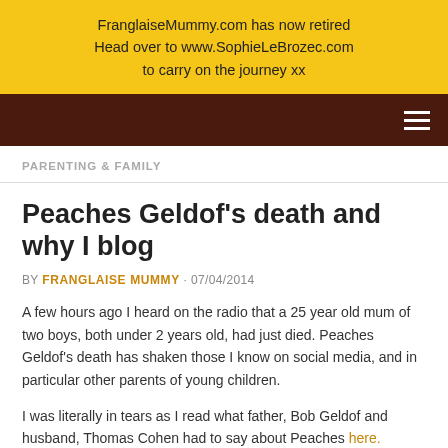FranglaiseMummy.com has now retired
Head over to www.SophieLeBrozec.com
to carry on the journey xx
PARENTING & FAMILY
Peaches Geldof's death and why I blog
BY FRANGLAISE MUMMY · 07/04/2014
A few hours ago I heard on the radio that a 25 year old mum of two boys, both under 2 years old, had just died. Peaches Geldof's death has shaken those I know on social media, and in particular other parents of young children.
I was literally in tears as I read what father, Bob Geldof and husband, Thomas Cohen had to say about Peaches here.
I'm not interested in how or why she died. It doesn't matter